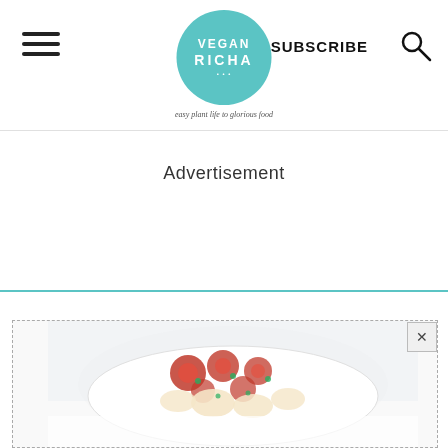Vegan Richa — SUBSCRIBE
Advertisement
[Figure (photo): Food photo showing a white plate with roasted radishes and vegetables, partially visible at the bottom of the page inside a dashed advertisement box]